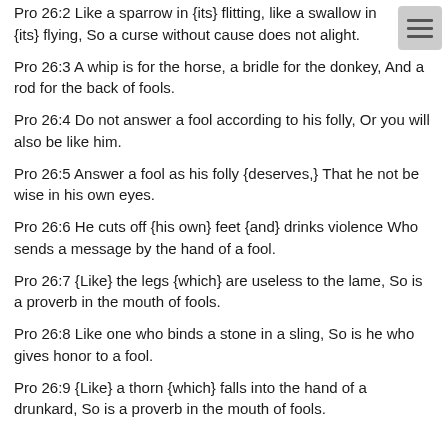Pro 26:2 Like a sparrow in {its} flitting, like a swallow in {its} flying, So a curse without cause does not alight.
Pro 26:3 A whip is for the horse, a bridle for the donkey, And a rod for the back of fools.
Pro 26:4 Do not answer a fool according to his folly, Or you will also be like him.
Pro 26:5 Answer a fool as his folly {deserves,} That he not be wise in his own eyes.
Pro 26:6 He cuts off {his own} feet {and} drinks violence Who sends a message by the hand of a fool.
Pro 26:7 {Like} the legs {which} are useless to the lame, So is a proverb in the mouth of fools.
Pro 26:8 Like one who binds a stone in a sling, So is he who gives honor to a fool.
Pro 26:9 {Like} a thorn {which} falls into the hand of a drunkard, So is a proverb in the mouth of fools.